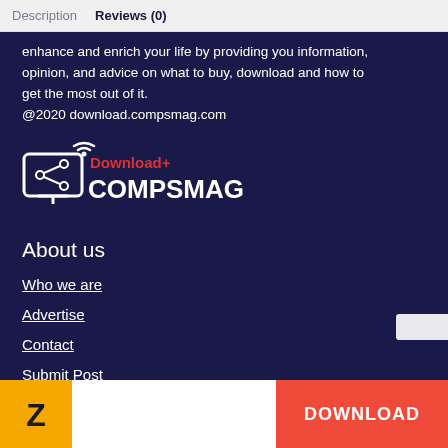Description   Reviews (0)
enhance and enrich your life by providing you information, opinion, and advice on what to buy, download and how to get the most out of it.
@2020 download.compsmag.com
[Figure (logo): Download+ COMPSMAG logo with monitor/share icon in white on dark navy background, red 'Download+' text above 'COMPSMAG' in white bold letters]
About us
Who we are
Advertise
Contact
Submit Post
[Figure (logo): Orange square logo with stylized Z letter in black/dark, app icon style]
DOWNLOAD